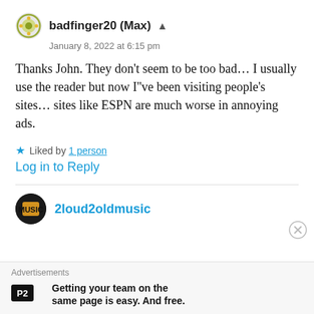badfinger20 (Max)
January 8, 2022 at 6:15 pm
Thanks John. They don't seem to be too bad... I usually use the reader but now I"ve been visiting people's sites... sites like ESPN are much worse in annoying ads.
Liked by 1 person
Log in to Reply
2loud2oldmusic
Advertisements
Getting your team on the same page is easy. And free.